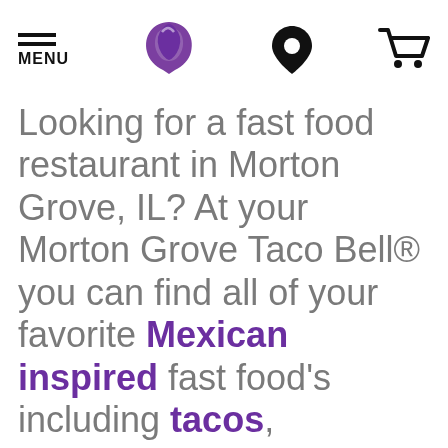MENU [Taco Bell logo] [location icon] [cart icon]
Looking for a fast food restaurant in Morton Grove, IL? At your Morton Grove Taco Bell® you can find all of your favorite Mexican inspired fast food's including tacos, burritos, quesadillas, nachos, and more! With breakfast